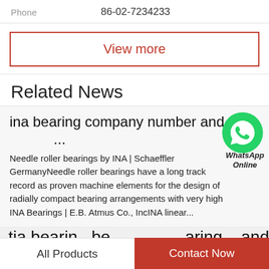Phone   86-02-7234233
View more
Related News
ina bearing company number and ...
Needle roller bearings by INA | Schaeffler GermanyNeedle roller bearings have a long track record as proven machine elements for the design of radially compact bearing arrangements with very high INA Bearings | E.B. Atmus Co., IncINA linear...
[Figure (illustration): WhatsApp Online green chat icon with WhatsApp Online label]
All Products   Contact Now